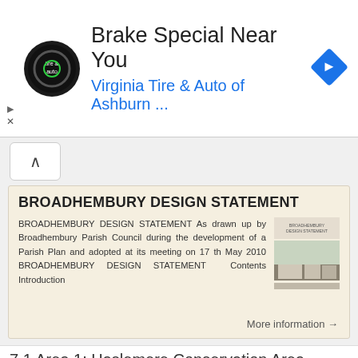[Figure (other): Advertisement banner: Virginia Tire & Auto of Ashburn — Brake Special Near You]
BROADHEMBURY DESIGN STATEMENT
BROADHEMBURY DESIGN STATEMENT As drawn up by Broadhembury Parish Council during the development of a Parish Plan and adopted at its meeting on 17 th May 2010 BROADHEMBURY DESIGN STATEMENT Contents Introduction
More information →
7.1 Area 1: Haslemere Conservation Area
7.1 Area 1: Haslemere Conservation Area Detailed map of Haslemere Town Conservation Area as of 2006 Crown copyright and database right 2011